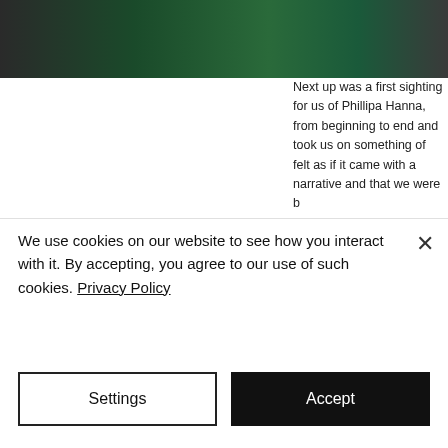[Figure (photo): Partial view of a photo showing dark mechanical/stage equipment with green background, cropped at top of page]
Next up was a first sighting for us of Phillipa Hanna, from beginning to end and took us on something of felt as if it came with a narrative and that we were b the off she was determined to get the party started. due to covid and possibly a side effect of Lockdown percussionist, Dad from the sidelines! Phillippa look
Immediately impressing by being able play while do singalong, you could not help but like Phillippa from beat chorus that we were singing along to before w sounded completly fresh even complete with "Yeeha seem awkward - and this was just the first song!!!
We use cookies on our website to see how you interact with it. By accepting, you agree to our use of such cookies. Privacy Policy
Settings
Accept